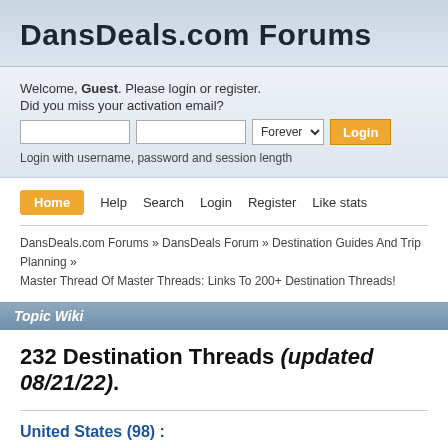DansDeals.com Forums
Welcome, Guest. Please login or register.
Did you miss your activation email?
Login with username, password and session length
Home  Help  Search  Login  Register  Like stats
DansDeals.com Forums » DansDeals Forum » Destination Guides And Trip Planning » Master Thread Of Master Threads: Links To 200+ Destination Threads!
Topic Wiki
232 Destination Threads (updated 08/21/22).
United States (98) :